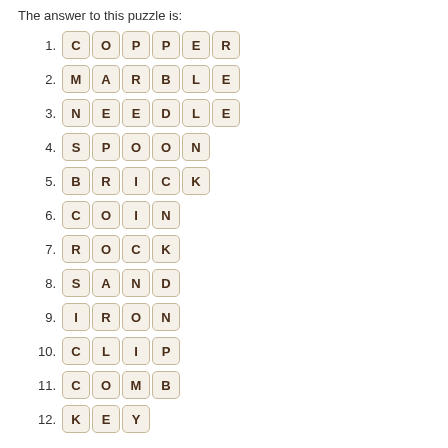The answer to this puzzle is:
1. COPPER
2. MARBLE
3. NEEDLE
4. SPOON
5. BRICK
6. COIN
7. ROCK
8. SAND
9. IRON
10. CLIP
11. COMB
12. KEY